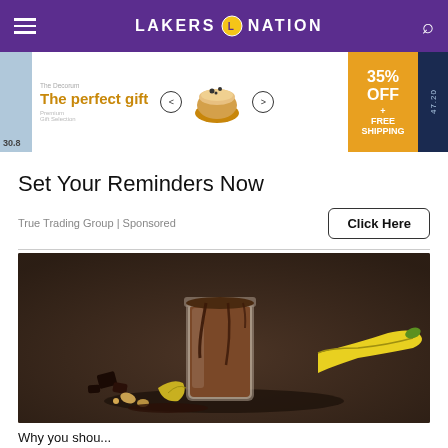LAKERS NATION
[Figure (screenshot): Advertisement banner: 'The perfect gift' with bowl of granola/oatmeal, navigation arrows, 35% OFF + FREE SHIPPING promo badge]
Set Your Reminders Now
True Trading Group | Sponsored
Click Here
[Figure (photo): A glass jar filled with chocolate shake/smoothie drizzled with chocolate sauce, surrounded by banana, chocolate chunks and nuts on a dark brown background]
Why you shou...